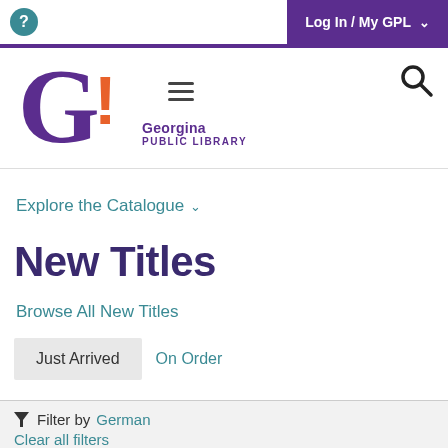Log In / My GPL
[Figure (logo): Georgina Public Library logo: large purple G with orange exclamation mark]
Explore the Catalogue
New Titles
Browse All New Titles
Just Arrived   On Order
Filter by German
Clear all filters